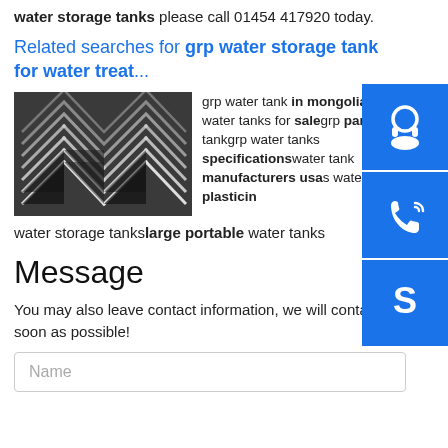water storage tanks please call 01454 417920 today.
Related searches for grp water storage tank for water treat…
[Figure (photo): Photo of stacked GRP/metal angle sections with zigzag pattern, black and white coloring]
grp water tank in mongoliapotable water tanks for salegrp panel tankgrp water tanks specificationswater tank manufacturers usaswater tanks plasticin water storage tankslarge portable water tanks
Message
You may also leave contact information, we will contact you as soon as possible!
Name